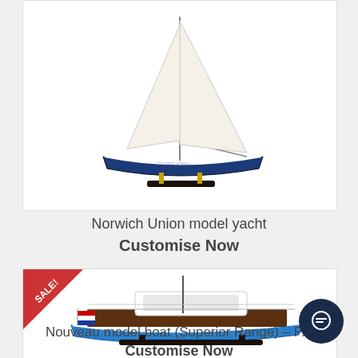[Figure (photo): Model yacht with white sails on a dark stand, Norwich Union branded, displayed against white background]
Norwich Union model yacht
Customise Now
[Figure (photo): Blue motor boat model (Nouveau Superior Range) with Dutch flag, on a black stand, with SALE! ribbon badge in top left corner]
Nouveau model boat (Superior Range) – P...
Customise Now